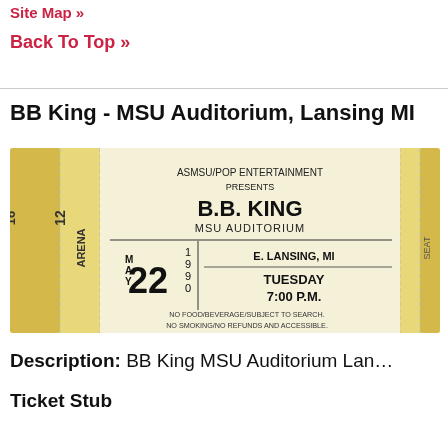Site Map »
Back To Top »
BB King - MSU Auditorium, Lansing MI
[Figure (photo): Concert ticket stub for B.B. King at MSU Auditorium, E. Lansing MI. Arena 16, E 12. May 22, 1990. Tuesday 7:00 P.M. ASMSU/Pop Entertainment presents. No food/beverage/subject to search. No smoking/no refunds and accessible.]
Description: BB King MSU Auditorium Lan…
Ticket Stub